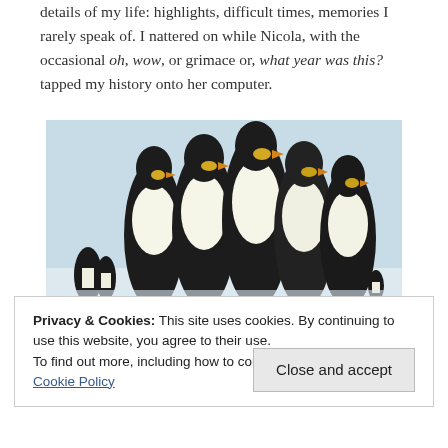details of my life: highlights, difficult times, memories I rarely speak of. I nattered on while Nicola, with the occasional oh, wow, or grimace or, what year was this? tapped my history onto her computer.
[Figure (photo): A group of emperor penguins standing close together against a snowy/icy background, viewed from the front. Several more penguins visible in the background.]
Privacy & Cookies: This site uses cookies. By continuing to use this website, you agree to their use.
To find out more, including how to control cookies, see here: Cookie Policy